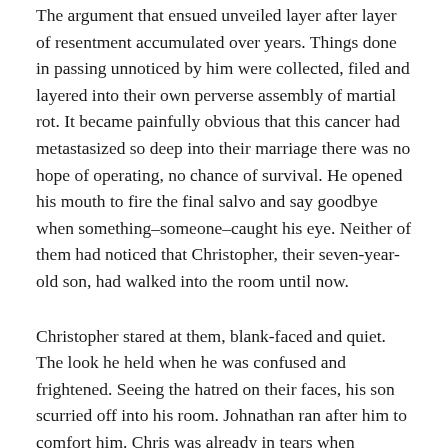The argument that ensued unveiled layer after layer of resentment accumulated over years. Things done in passing unnoticed by him were collected, filed and layered into their own perverse assembly of martial rot. It became painfully obvious that this cancer had metastasized so deep into their marriage there was no hope of operating, no chance of survival. He opened his mouth to fire the final salvo and say goodbye when something–someone–caught his eye. Neither of them had noticed that Christopher, their seven-year-old son, had walked into the room until now.
Christopher stared at them, blank-faced and quiet. The look he held when he was confused and frightened. Seeing the hatred on their faces, his son scurried off into his room. Johnathan ran after him to comfort him. Chris was already in tears when Johnathan got there. Johnathan, having grown up in a house with incessant arguing, was nauseous thinking his son, if even for a night, felt the same way. He hugged him until he stopped crying and dozed off. Johnathan would never argue again, with